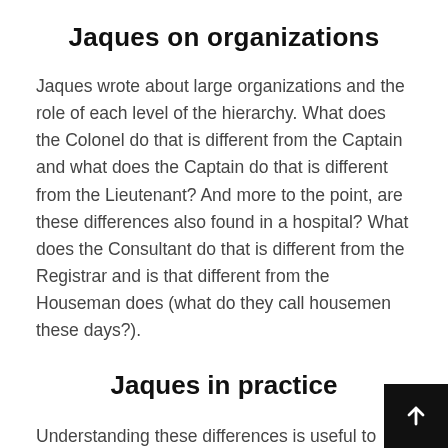Jaques on organizations
Jaques wrote about large organizations and the role of each level of the hierarchy.  What does the Colonel do that is different from the Captain and what does the Captain do that is different from the Lieutenant?  And more to the point, are these differences also found in a hospital?  What does the Consultant do that is different from the Registrar and is that different from the Houseman does (what do they call housemen these days?).
Jaques in practice
Understanding these differences is useful to organization practitioners for three reasons.